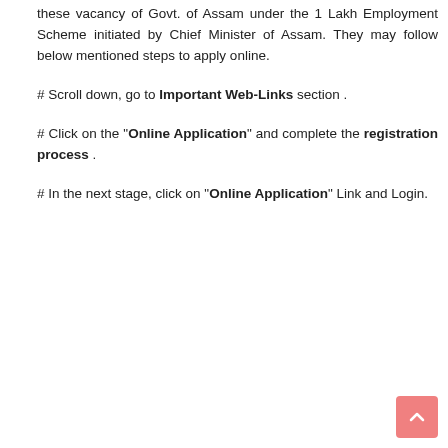these vacancy of Govt. of Assam under the 1 Lakh Employment Scheme initiated by Chief Minister of Assam. They may follow below mentioned steps to apply online.
# Scroll down, go to Important Web-Links section .
# Click on the "Online Application" and complete the registration process .
# In the next stage, click on "Online Application" Link and Login.